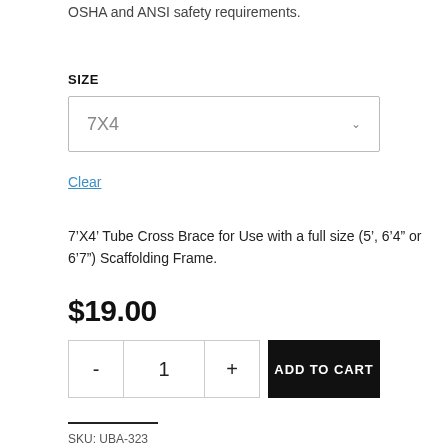OSHA and ANSI safety requirements.
SIZE
[Figure (screenshot): A dropdown selector showing '7X4' with a chevron arrow, inside a bordered box.]
Clear
7’X4’ Tube Cross Brace for Use with a full size (5’, 6’4” or 6’7”) Scaffolding Frame.
$19.00
[Figure (screenshot): Quantity selector with minus button, quantity field showing 1, plus button, and a black ADD TO CART button.]
SKU: UBA-323